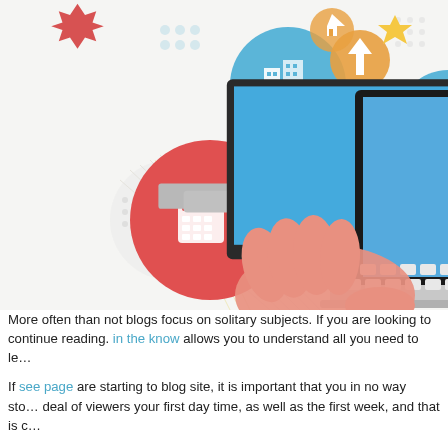[Figure (illustration): Colorful illustration of two hands typing on a laptop computer. The laptop screen shows a blue background with a white cursor arrow. Around the laptop are various circular icons representing different topics: a calculator (red circle), buildings/real estate (blue circle), an upload arrow (orange), a star, a house/home icon, a shopping cart (blue circle), a briefcase (red burst), a graph/analytics (gold circle), a leaf (green). The background has decorative geometric patterns.]
More often than not blogs focus on solitary subjects. If you are looking to continue reading. in the know allows you to understand all you need to le…
If see page are starting to blog site, it is important that you in no way sto… deal of viewers your first day time, as well as the first week, and that is c…